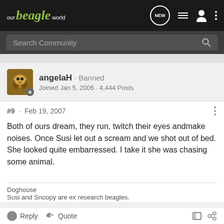our beagle world
Search Community
angelaH · Banned
Joined Jan 5, 2006 · 4,444 Posts
#9 · Feb 19, 2007
Both of ours dream, they run, twitch their eyes andmake noises. Once Susi let out a scream and we shot out of bed. She looked quite embarressed. I take it she was chasing some animal.
Doghouse
Susi and Snoopy are ex research beagles.
Reply  Quote